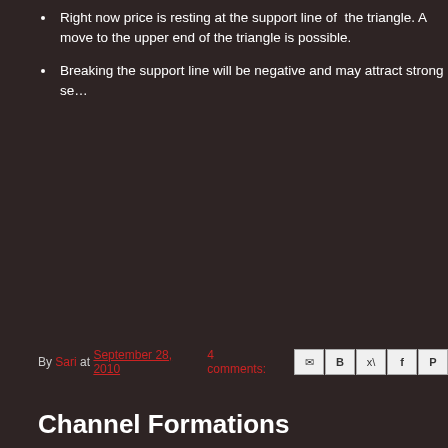Right now price is resting at the support line of the triangle. A move to the upper end of the triangle is possible.
Breaking the support line will be negative and may attract strong se…
By Sari at September 28, 2010  4 comments:
Channel Formations